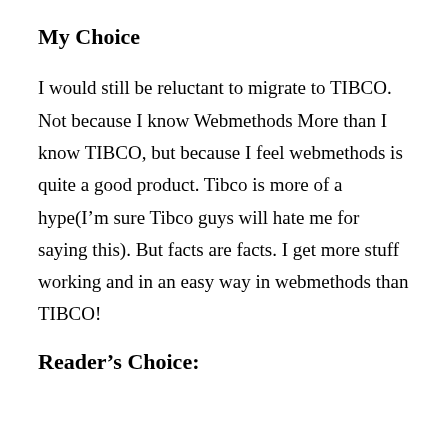My Choice
I would still be reluctant to migrate to TIBCO. Not because I know Webmethods More than I know TIBCO, but because I feel webmethods is quite a good product. Tibco is more of a hype(I’m sure Tibco guys will hate me for saying this). But facts are facts. I get more stuff working and in an easy way in webmethods than TIBCO!
Reader’s Choice: